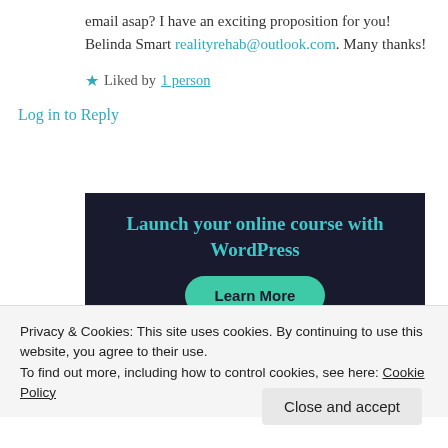email asap? I have an exciting proposition for you! Belinda Smart realityrehab@outlook.com. Many thanks!
★ Liked by 1 person
Log in to Reply
[Figure (screenshot): Dark background advertisement banner with teal text reading 'Launch your online course with WordPress' and a teal 'Learn More' button]
Privacy & Cookies: This site uses cookies. By continuing to use this website, you agree to their use. To find out more, including how to control cookies, see here: Cookie Policy
Close and accept